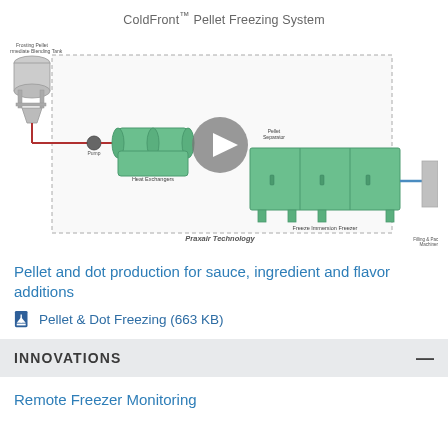ColdFront™ Pellet Freezing System
[Figure (schematic): ColdFront Pellet Freezing System schematic diagram showing: Frosting Pellet Intermediate Blending Tank (gray tank, top left), red pipe flow line, Pump, Heat Exchangers (green cylinders), Pellet Separator, Freeze Immersion Freezer (large green cabinet with three sections on legs), connected via blue line to Filling & Packing Machinery (gray block, right). Play button overlay in center. 'Praxair Technology' label at bottom inside dashed border. All enclosed in a dashed-border rectangle.]
Pellet and dot production for sauce, ingredient and flavor additions
Pellet & Dot Freezing (663 KB)
INNOVATIONS
Remote Freezer Monitoring